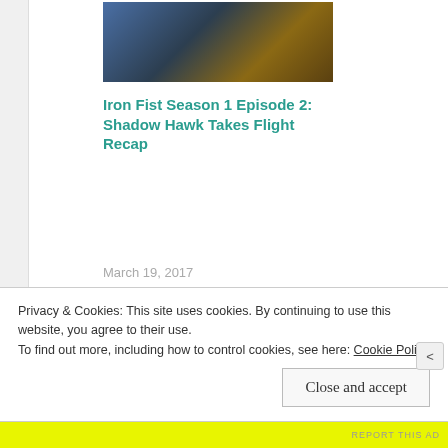[Figure (photo): Thumbnail image of a person for Iron Fist Season 1 Episode 2 article]
Iron Fist Season 1 Episode 2: Shadow Hawk Takes Flight Recap
March 19, 2017
In "TV Shows"
POSTED IN TV SHOWS
DAVID WENHAM
FINN JONES
IRON FIST
JESSICA HENWICK
JESSICA STROUP
MARVEL CINEMATIC UNIVERSE
METACRONE
NETFLIX
Privacy & Cookies: This site uses cookies. By continuing to use this website, you agree to their use.
To find out more, including how to control cookies, see here: Cookie Policy
Close and accept